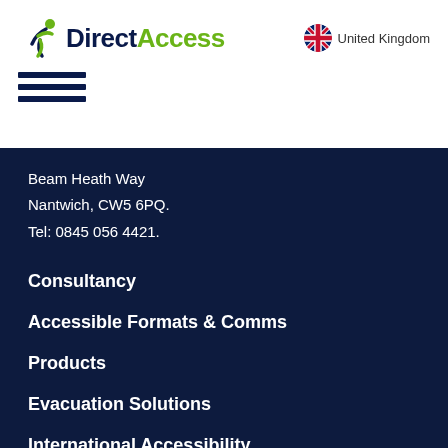[Figure (logo): DirectAccess logo with a running figure icon. 'Direct' in dark navy, 'Access' in green.]
United Kingdom
[Figure (other): Hamburger menu icon (three horizontal lines)]
Beam Heath Way
Nantwich, CW5 6PQ.
Tel: 0845 056 4421.
Consultancy
Accessible Formats & Comms
Products
Evacuation Solutions
International Accessibility